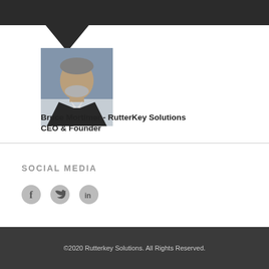[Figure (photo): Dark header bar with downward pointing arrow/chevron below it]
[Figure (photo): Headshot photo of Bruce Mortimer, a middle-aged man in a suit with a white beard]
Bruce Mortimer - RutterKey Solutions CEO & Founder
SOCIAL MEDIA
[Figure (other): Social media icons: Facebook (f), Twitter (bird), LinkedIn (in)]
©2020 Rutterkey Solutions. All Rights Reserved.